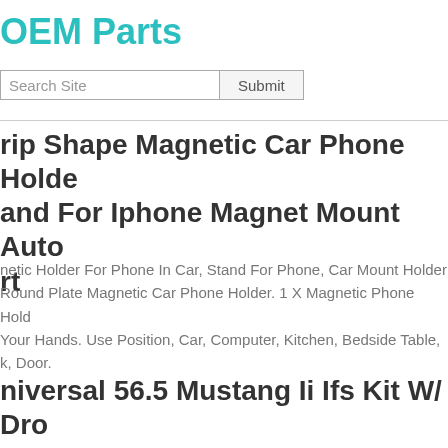OEM Parts
Search Site  Submit
rip Shape Magnetic Car Phone Holder and For Iphone Magnet Mount Auto rt
netic Holder For Phone In Car, Stand For Phone, Car Mount Holder Round Plate Magnetic Car Phone Holder. 1 X Magnetic Phone Hold Your Hands. Use Position, Car, Computer, Kitchen, Bedside Table, k, Door.
niversal 56.5 Mustang Ii Ifs Kit W/ Dro bindle Power Rack - No Brakes/ Shoc